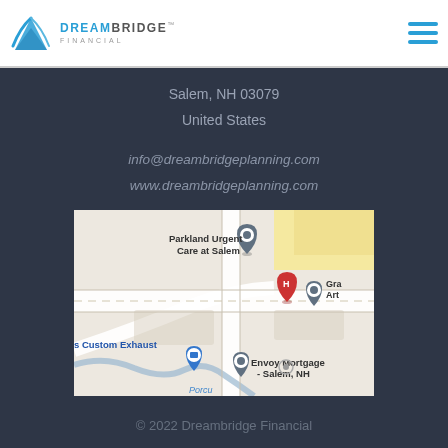DREAMBRIDGE FINANCIAL
Salem, NH 03079
United States
info@dreambridgeplanning.com
www.dreambridgeplanning.com
[Figure (map): Google Maps screenshot showing the location near Salem, NH with markers for Parkland Urgent Care at Salem, a hotel (H), Envoy Mortgage - Salem NH, s Custom Exhaust, and Gra Art locations. A river (Porcu) runs through the map.]
© 2022 Dreambridge Financial